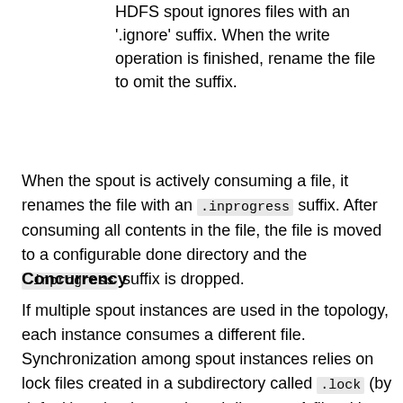HDFS spout ignores files with an '.ignore' suffix. When the write operation is finished, rename the file to omit the suffix.
When the spout is actively consuming a file, it renames the file with an .inprogress suffix. After consuming all contents in the file, the file is moved to a configurable done directory and the .inprogress suffix is dropped.
Concurrency
If multiple spout instances are used in the topology, each instance consumes a different file. Synchronization among spout instances relies on lock files created in a subdirectory called .lock (by default) under the monitored directory. A file with the same name as the file being consumed (without the .inprogress suffix) is created in the lock directory. Once the file is completely